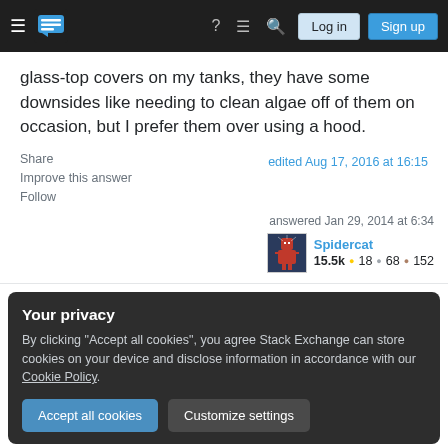Stack Exchange navigation bar with Log in and Sign up buttons
glass-top covers on my tanks, they have some downsides like needing to clean algae off of them on occasion, but I prefer them over using a hood.
Share | Improve this answer | Follow
edited Aug 17, 2016 at 16:15
answered Jan 29, 2014 at 6:34
Spidercat
15.5k • 18 • 68 • 152
Your privacy
By clicking "Accept all cookies", you agree Stack Exchange can store cookies on your device and disclose information in accordance with our Cookie Policy.
Accept all cookies | Customize settings
wont jump but I'm not convinced the wrasse wouldnt.